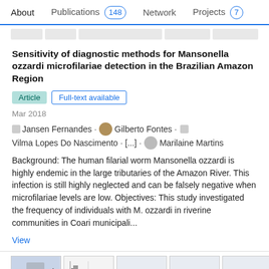About   Publications 148   Network   Projects 7
Sensitivity of diagnostic methods for Mansonella ozzardi microfilariae detection in the Brazilian Amazon Region
Article   Full-text available
Mar 2018
Jansen Fernandes · Gilberto Fontes · Vilma Lopes Do Nascimento · [...] · Marilaine Martins
Background: The human filarial worm Mansonella ozzardi is highly endemic in the large tributaries of the Amazon River. This infection is still highly neglected and can be falsely negative when microfilariae levels are low. Objectives: This study investigated the frequency of individuals with M. ozzardi in riverine communities in Coari municipali...
View
[Figure (screenshot): Thumbnail images at the bottom of the page showing map and chart figures]